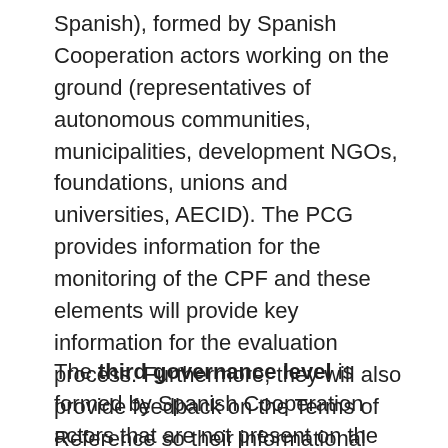Spanish), formed by Spanish Cooperation actors working on the ground (representatives of autonomous communities, municipalities, development NGOs, foundations, unions and universities, AECID). The PCG provides information for the monitoring of the CPF and these elements will provide key information for the evaluation process. Furthermore, they will also provide feedback on the Terms of Reference so their informational needs are integrated, and on reports generated by the evaluation team. Representatives from institutions in the partner country will also participate in this second level of governance, constituting key informants that will also provide feedback on any reports generated.
The third governance level is formed by Spanish Cooperation actors that are not present on the ground who could be key informants and provide